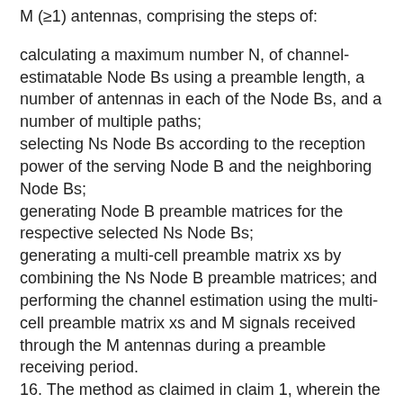M (≥1) antennas, comprising the steps of:
calculating a maximum number N, of channel-estimatable Node Bs using a preamble length, a number of antennas in each of the Node Bs, and a number of multiple paths;
selecting Ns Node Bs according to the reception power of the serving Node B and the neighboring Node Bs;
generating Node B preamble matrices for the respective selected Ns Node Bs;
generating a multi-cell preamble matrix xs by combining the Ns Node B preamble matrices; and
performing the channel estimation using the multi-cell preamble matrix xs and M signals received through the M antennas during a preamble receiving period.
16. The method as claimed in claim 1, wherein the maximum number of channel-estimatable Node Bs, Ns, is calculated by